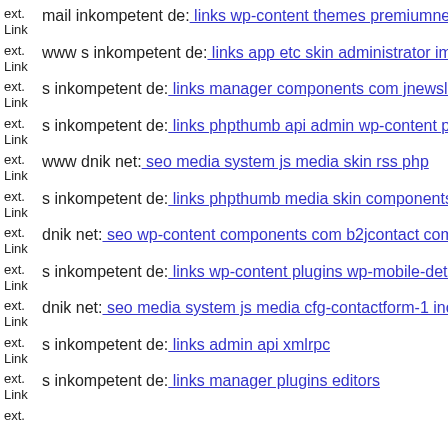ext. Link mail inkompetent de: links wp-content themes premiumnews d
ext. Link www s inkompetent de: links app etc skin administrator images
ext. Link s inkompetent de: links manager components com jnewsletterg
ext. Link s inkompetent de: links phpthumb api admin wp-content plugin
ext. Link www dnik net: seo media system js media skin rss php
ext. Link s inkompetent de: links phpthumb media skin components com
ext. Link dnik net: seo wp-content components com b2jcontact compone
ext. Link s inkompetent de: links wp-content plugins wp-mobile-detector
ext. Link dnik net: seo media system js media cfg-contactform-1 inc
ext. Link s inkompetent de: links admin api xmlrpc
ext. Link s inkompetent de: links manager plugins editors
ext.